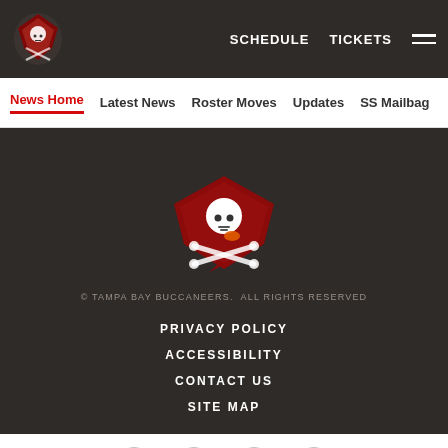SCHEDULE  TICKETS  ☰
News Home  Latest News  Roster Moves  Updates  SS Mailbag
[Figure (logo): Tampa Bay Buccaneers logo in footer]
© TAMPA BAY BUCCANEERS.  ALL RIGHTS RESERVED
PRIVACY POLICY
ACCESSIBILITY
CONTACT US
SITE MAP
Facebook  Twitter  Email  Link social icons